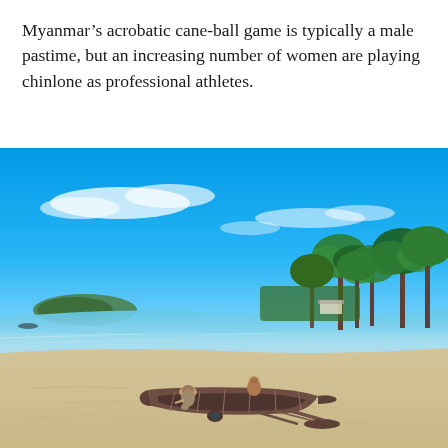Myanmar’s acrobatic cane-ball game is typically a male pastime, but an increasing number of women are playing chinlone as professional athletes.
[Figure (photo): A tropical beach scene with bright blue sky and wispy white clouds. Two people sit beside a large wooden traditional boat on white sand. Calm turquoise water and a tree-lined shore with palm trees are visible in the background, along with a small green island in the distance.]